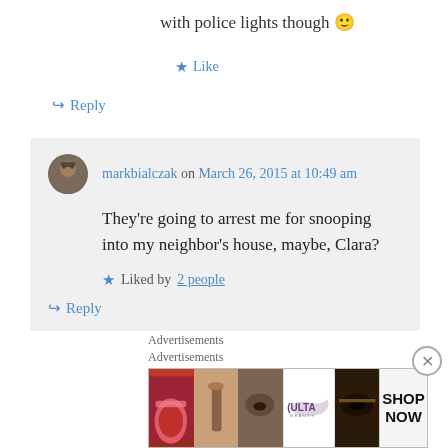with police lights though 🙂
★ Like
↪ Reply
markbialczak on March 26, 2015 at 10:49 am
They're going to arrest me for snooping into my neighbor's house, maybe, Clara?
★ Liked by 2 people
↪ Reply
Advertisements
Advertisements
[Figure (photo): Ulta Beauty advertisement banner with makeup imagery and SHOP NOW text]